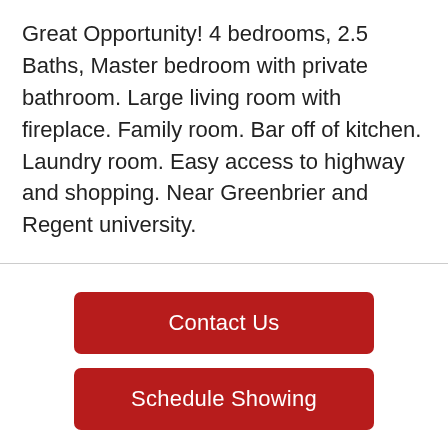Great Opportunity! 4 bedrooms, 2.5 Baths, Master bedroom with private bathroom. Large living room with fireplace. Family room. Bar off of kitchen. Laundry room. Easy access to highway and shopping. Near Greenbrier and Regent university.
Contact Us
Schedule Showing
Search All Properties
Share